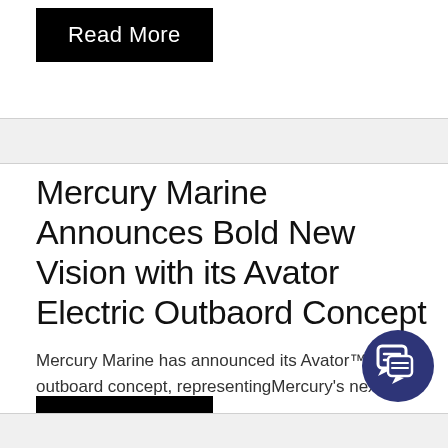Read More
Mercury Marine Announces Bold New Vision with its Avator Electric Outbaord Concept
Mercury Marine has announced its Avator™ electric outboard concept, representingMercury's nex...
Read More
[Figure (illustration): Dark blue circular chat/messaging icon button in bottom right corner]